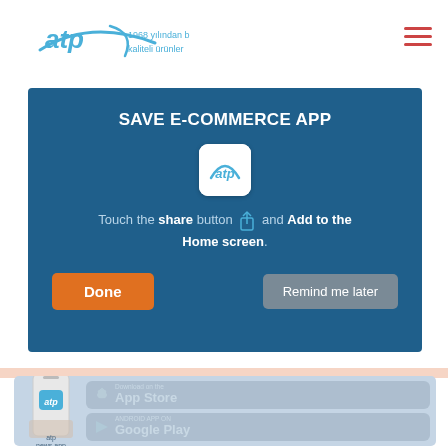[Figure (screenshot): ATP e-commerce website header with logo showing 'atp' in blue italic text, tagline '1968 yılından bu yana kaliteli ürünler', and hamburger menu icon on the right]
[Figure (screenshot): Modal dialog with dark blue background titled 'SAVE E-COMMERCE APP' showing ATP app icon, instruction text 'Touch the share button and Add to the Home screen.', with 'Done' (orange) and 'Remind me later' (gray) buttons]
[Figure (screenshot): App download section showing a smartphone with ATP logo, App Store and Google Play download buttons on a light blue background]